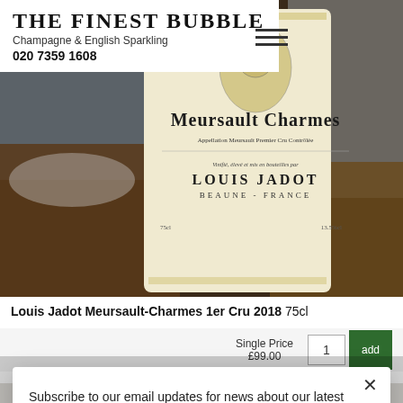THE FINEST BUBBLE
Champagne & English Sparkling
020 7359 1608
[Figure (photo): Close-up of a Louis Jadot Meursault Charmes Premier Cru wine bottle label against a background of vineyard landscape. Label reads: FONDÉE EN 1859, MEURSAULT CHARMES, Appellation Meursault Premier Cru Contrôlée, Vinifié, élevé et mis en bouteilles par LOUIS JADOT, BEAUNE - FRANCE. 75cl, 13.5%cl.]
Louis Jadot Meursault-Charmes 1er Cru 2018 75cl
Single Price
£99.00
1
add
Subscribe to our email updates for news about our latest releases and events.
Sign Up